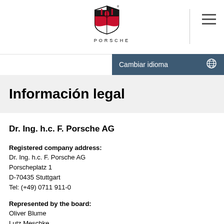[Figure (logo): Porsche crest logo with PORSCHE wordmark below]
Cambiar idioma
Información legal
Dr. Ing. h.c. F. Porsche AG
Registered company address:
Dr. Ing. h.c. F. Porsche AG
Porscheplatz 1
D-70435 Stuttgart
Tel: (+49) 0711 911-0
Represented by the board:
Oliver Blume
Lutz Meschke
Andreas Haffner
Detlev von Platen